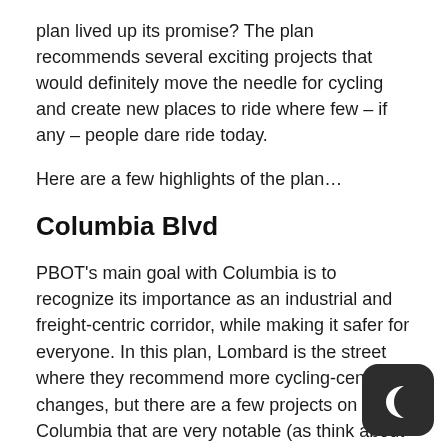plan lived up its promise? The plan recommends several exciting projects that would definitely move the needle for cycling and create new places to ride where few – if any – people dare ride today.
Here are a few highlights of the plan…
Columbia Blvd
PBOT's main goal with Columbia is to recognize its importance as an industrial and freight-centric corridor, while making it safer for everyone. In this plan, Lombard is the street where they recommend more cycling-centric changes, but there are a few projects on Columbia that are very notable (as think about this plan, keep in mind that Colum owned by PBOT and Lombard/US 30/Killingsworth